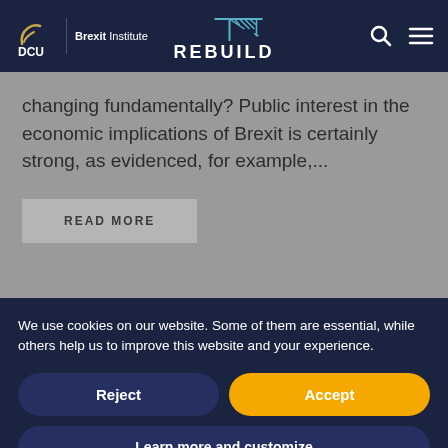DCU Brexit Institute | REBUILD
changing fundamentally? Public interest in the economic implications of Brexit is certainly strong, as evidenced, for example,...
READ MORE
We use cookies on our website. Some of them are essential, while others help us to improve this website and your experience.
Reject
Accept
Learn more and customize